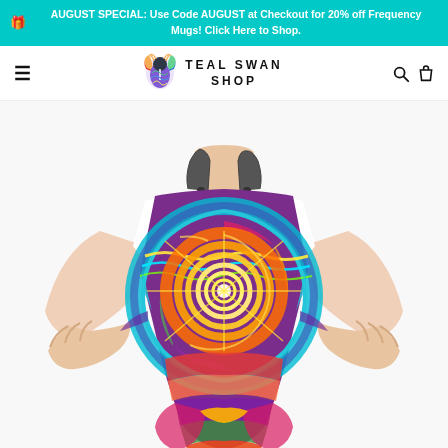AUGUST SPECIAL: Use Code AUGUST at Checkout for 20% off Frequency Mugs! Click Here to Shop.
[Figure (logo): Teal Swan Shop logo with colorful bird/deer icon and text 'TEAL SWAN SHOP']
[Figure (photo): Person wearing a colorful psychedelic mandala-print apron with spiral sun design in blues, purples, yellows, and reds. The person is wearing a white t-shirt and has hands on hips.]